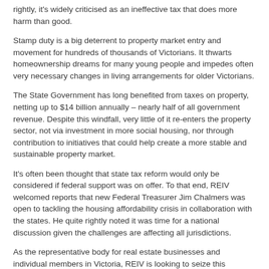rightly, it's widely criticised as an ineffective tax that does more harm than good.
Stamp duty is a big deterrent to property market entry and movement for hundreds of thousands of Victorians. It thwarts homeownership dreams for many young people and impedes often very necessary changes in living arrangements for older Victorians.
The State Government has long benefited from taxes on property, netting up to $14 billion annually – nearly half of all government revenue. Despite this windfall, very little of it re-enters the property sector, not via investment in more social housing, nor through contribution to initiatives that could help create a more stable and sustainable property market.
It's often been thought that state tax reform would only be considered if federal support was on offer. To that end, REIV welcomed reports that new Federal Treasurer Jim Chalmers was open to tackling the housing affordability crisis in collaboration with the states. He quite rightly noted it was time for a national discussion given the challenges are affecting all jurisdictions.
As the representative body for real estate businesses and individual members in Victoria, REIV is looking to seize this imminent opportunity.